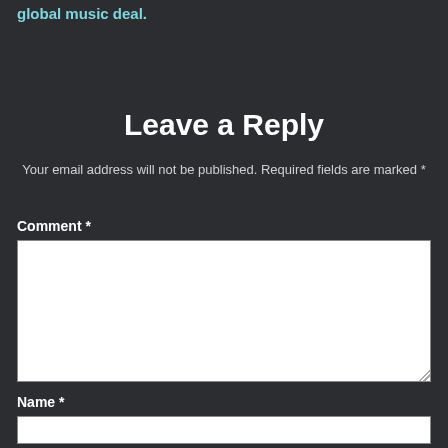global music deal.
Leave a Reply
Your email address will not be published. Required fields are marked *
Comment *
Name *